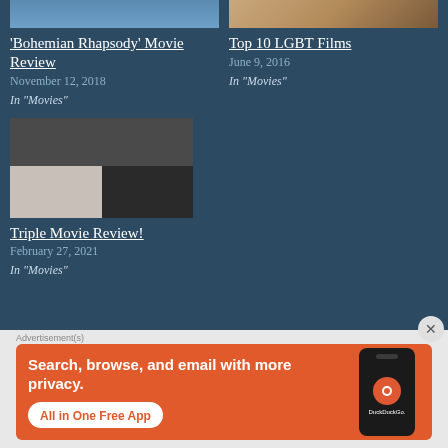[Figure (photo): Partial image of a blue-toned movie scene at top left]
[Figure (photo): Partial image of a warm-toned movie scene at top right]
'Bohemian Rhapsody' Movie Review
November 12, 2018
In "Movies"
Top 10 LGBT Films
June 9, 2016
In "Movies"
[Figure (photo): Composite of three movie stills for Triple Movie Review]
Triple Movie Review!
February 27, 2021
In "Movies"
Advertisement(s)
[Figure (infographic): DuckDuckGo advertisement banner: Search, browse, and email with more privacy. All in One Free App. Shows phone with DuckDuckGo logo.]